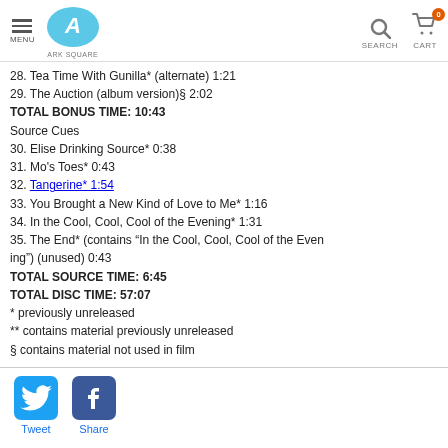MENU | ARK SQUARE | SEARCH | CART 0
28. Tea Time With Gunilla* (alternate) 1:21
29. The Auction (album version)§ 2:02
TOTAL BONUS TIME: 10:43
Source Cues
30. Elise Drinking Source* 0:38
31. Mo's Toes* 0:43
32. Tangerine* 1:54
33. You Brought a New Kind of Love to Me* 1:16
34. In the Cool, Cool, Cool of the Evening* 1:31
35. The End* (contains "In the Cool, Cool, Cool of the Evening") (unused) 0:43
TOTAL SOURCE TIME: 6:45
TOTAL DISC TIME: 57:07
* previously unreleased
** contains material previously unreleased
§ contains material not used in film